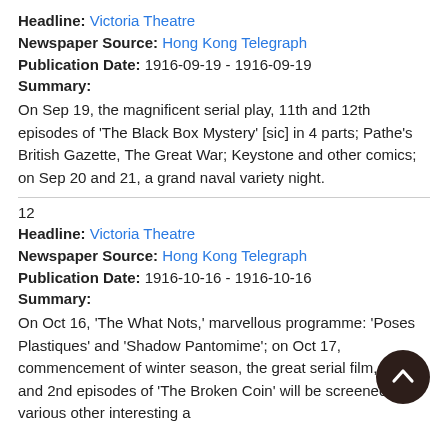Headline: Victoria Theatre
Newspaper Source: Hong Kong Telegraph
Publication Date: 1916-09-19 - 1916-09-19
Summary:
On Sep 19, the magnificent serial play, 11th and 12th episodes of 'The Black Box Mystery' [sic] in 4 parts; Pathe's British Gazette, The Great War; Keystone and other comics; on Sep 20 and 21, a grand naval variety night.
12
Headline: Victoria Theatre
Newspaper Source: Hong Kong Telegraph
Publication Date: 1916-10-16 - 1916-10-16
Summary:
On Oct 16, 'The What Nots,' marvellous programme: 'Poses Plastiques' and 'Shadow Pantomime'; on Oct 17, commencement of winter season, the great serial film, 1st and 2nd episodes of 'The Broken Coin' will be screened with various other interesting a
13